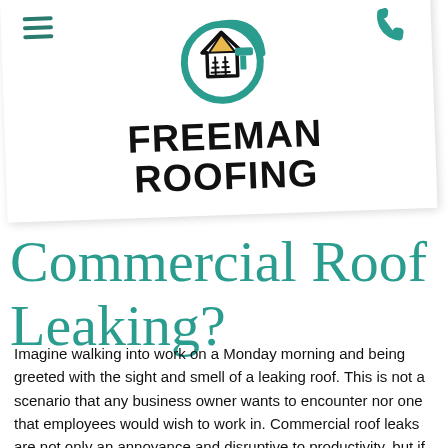[Figure (logo): Freeman Roofing logo with teal house/drop icon, hamburger menu icon, and phone icon]
Commercial Roof Leaking?
Imagine walking into work on a Monday morning and being greeted with the sight and smell of a leaking roof. This is not a scenario that any business owner wants to encounter nor one that employees would wish to work in. Commercial roof leaks are not only an annoyance and disruptive to productivity, but if not treated properly they